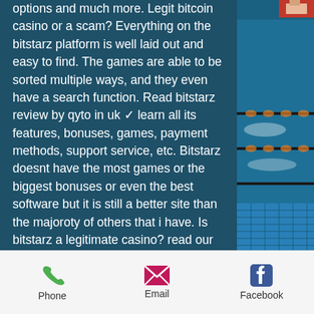options and much more. Legit bitcoin casino or a scam? Everything on the bitstarz platform is well laid out and easy to find. The games are able to be sorted multiple ways, and they even have a search function. Read bitstarz review by qyto in uk ✓ learn all its features, bonuses, games, payment methods, support service, etc. Bitstarz doesnt have the most games or the biggest bonuses or even the best software but it is still a better site than the majoroty of others that i have. Is bitstarz a legitimate casino? read our bitstarz review as we investigate and determine whether this casino is treating their customers fairly. Bitstarz casino - honestly the best casino by far. Bitstarz is at the forefront of the best bitcoin gambling industry, In-depth review of the bitstarz casino → check out our experiences with this
[Figure (photo): Photo of an indoor swimming pool with lane dividers, water splashing, and people at the edge visible at top right]
Phone   Email   Facebook